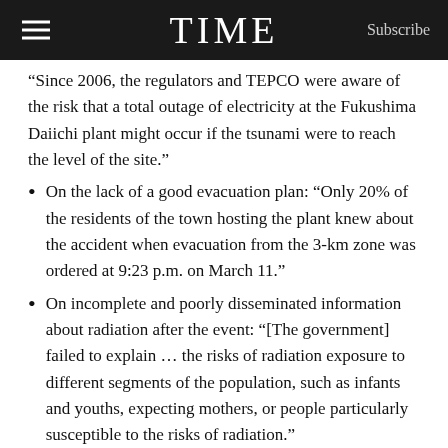TIME | Subscribe
“Since 2006, the regulators and TEPCO were aware of the risk that a total outage of electricity at the Fukushima Daiichi plant might occur if the tsunami were to reach the level of the site.”
On the lack of a good evacuation plan: “Only 20% of the residents of the town hosting the plant knew about the accident when evacuation from the 3-km zone was ordered at 9:23 p.m. on March 11.”
On incomplete and poorly disseminated information about radiation after the event: “[The government] failed to explain … the risks of radiation exposure to different segments of the population, such as infants and youths, expecting mothers, or people particularly susceptible to the risks of radiation.”
On the insularity of Japan’s nuclear industry: “The regulators also had a negative attitude toward the importation of new advances in knowledge and technology from overseas. If [the